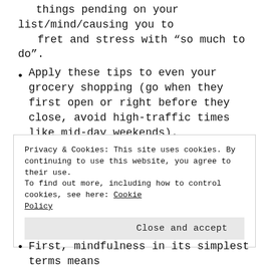things pending on your list/mind/causing you to fret and stress with “so much to do”.
Apply these tips to even your grocery shopping (go when they first open or right before they close, avoid high-traffic times like mid-day weekends).
This all will create room for you to enjoy the season so much more.  Life goes by fast enough, our kids grow up too fast, slow it down by being present.
Build a better web and a better world.
REPORT THIS AD
Privacy & Cookies: This site uses cookies. By continuing to use this website, you agree to their use.
To find out more, including how to control cookies, see here: Cookie Policy
Close and accept
First, mindfulness in its simplest terms means